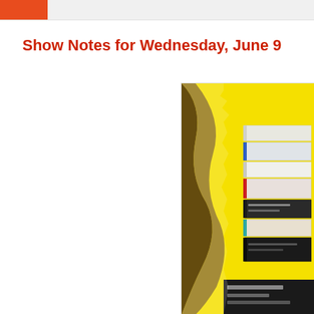Show Notes for Wednesday, June 9
[Figure (illustration): Book cover showing a stack of colorful books (white, blue, white, red, black/dark, blue/teal, black) against a yellow background with a dark torn-paper or shadow silhouette effect on the left side. Partial text visible at bottom.]